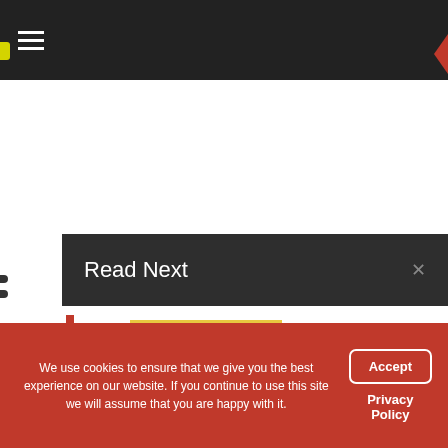☰ (navigation menu bar)
Read Next
[Figure (photo): Woman wearing traditional headdress, smiling, red top, yellow background]
Ring in the Year of the Ox with Lunar New Year Global Gift Guide
February 9, 2021   💬 0
[Figure (photo): Fireworks display against dark sky]
Photography Friday ~ Anyone Can Get Great Pics at Disney!
We use cookies to ensure that we give you the best experience on our website. If you continue to use this site we will assume that you are happy with it.
Accept
Privacy Policy